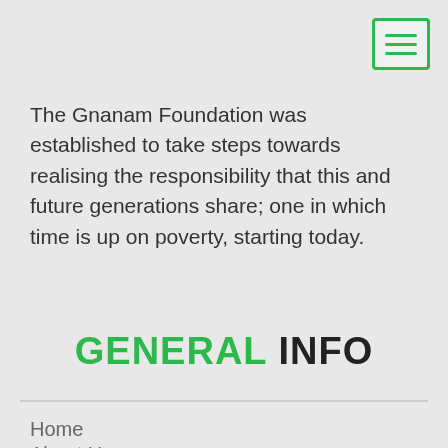[Figure (other): Hamburger menu button icon with three green horizontal lines inside a green-bordered rectangle]
The Gnanam Foundation was established to take steps towards realising the responsibility that this and future generations share; one in which time is up on poverty, starting today.
GENERAL INFO
Home
About Us
Services & Offers
Ongoing Projects
News & Events